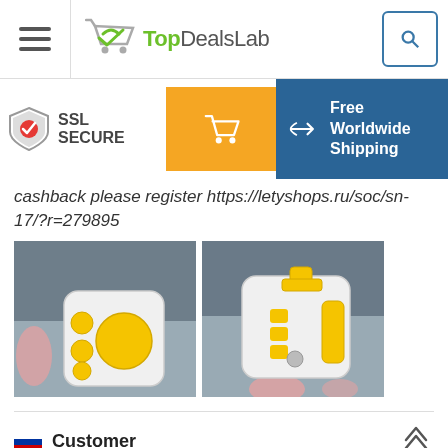TopDealsLab
[Figure (screenshot): SSL Secure badge, orange cart button, Free Worldwide Shipping banner]
cashback please register https://letyshops.ru/soc/sn-17/?r=279895
[Figure (photo): Two product photos of a white and yellow fidget cube held in a car interior]
Customer
27 Feb 2017
Verified P...